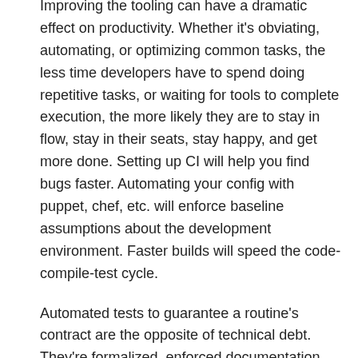Improving the tooling can have a dramatic effect on productivity. Whether it's obviating, automating, or optimizing common tasks, the less time developers have to spend doing repetitive tasks, or waiting for tools to complete execution, the more likely they are to stay in flow, stay in their seats, stay happy, and get more done. Setting up CI will help you find bugs faster. Automating your config with puppet, chef, etc. will enforce baseline assumptions about the development environment. Faster builds will speed the code-compile-test cycle.
Automated tests to guarantee a routine's contract are the opposite of technical debt. They're formalized, enforced documentation. They may take more time to build up front, but they prevent errors from happening downstream, when they'll take more time to fix.